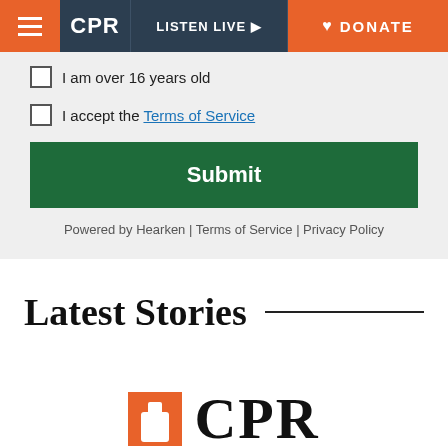CPR | LISTEN LIVE | DONATE
I am over 16 years old
I accept the Terms of Service
Submit
Powered by Hearken | Terms of Service | Privacy Policy
Latest Stories
[Figure (logo): CPR logo with orange square icon and bold CPR text]